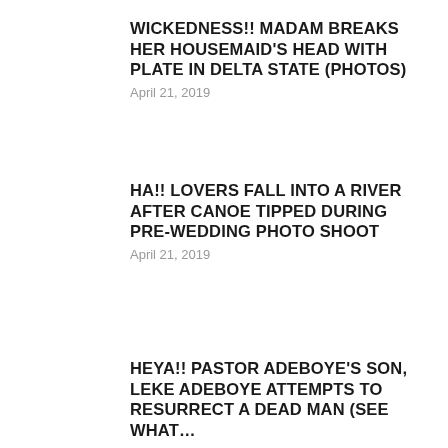WICKEDNESS!! MADAM BREAKS HER HOUSEMAID'S HEAD WITH PLATE IN DELTA STATE (PHOTOS)
April 21, 2019
HA!! LOVERS FALL INTO A RIVER AFTER CANOE TIPPED DURING PRE-WEDDING PHOTO SHOOT
April 21, 2019
HEYA!! PASTOR ADEBOYE'S SON, LEKE ADEBOYE ATTEMPTS TO RESURRECT A DEAD MAN (SEE WHAT…
April 20, 2019